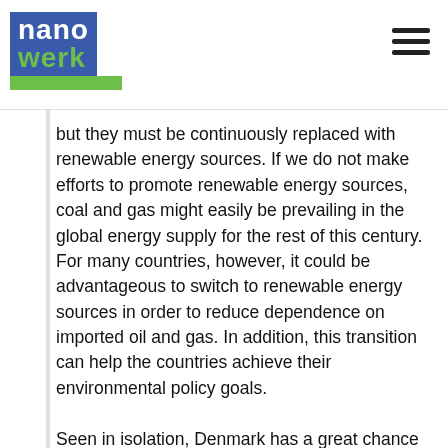nanowerk
but they must be continuously replaced with renewable energy sources. If we do not make efforts to promote renewable energy sources, coal and gas might easily be prevailing in the global energy supply for the rest of this century. For many countries, however, it could be advantageous to switch to renewable energy sources in order to reduce dependence on imported oil and gas. In addition, this transition can help the countries achieve their environmental policy goals.
Seen in isolation, Denmark has a great chance for achieving these goals and for phasing out fossil fuels at a rapid pace and thus reduce emissions of greenhouse gases at the required pace.
Danish wind and biomass resources in particular will make it possible to phase out fossil fuels in connection with power generation and heat production before 2040. It will take further 10 years to eliminate fossil fuels within the transport sector.